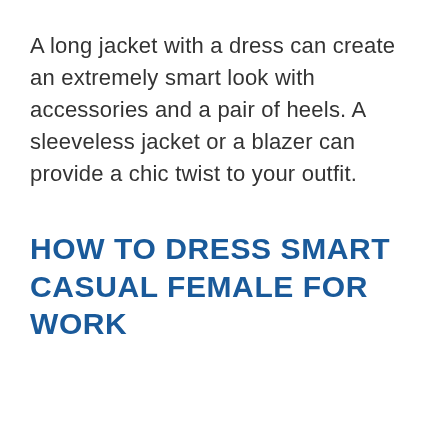A long jacket with a dress can create an extremely smart look with accessories and a pair of heels. A sleeveless jacket or a blazer can provide a chic twist to your outfit.
HOW TO DRESS SMART CASUAL FEMALE FOR WORK